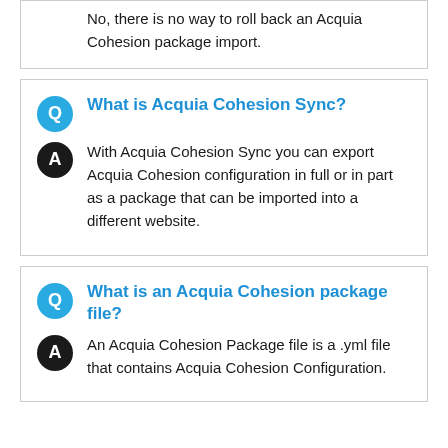No, there is no way to roll back an Acquia Cohesion package import.
What is Acquia Cohesion Sync?
With Acquia Cohesion Sync you can export Acquia Cohesion configuration in full or in part as a package that can be imported into a different website.
What is an Acquia Cohesion package file?
An Acquia Cohesion Package file is a .yml file that contains Acquia Cohesion Configuration.